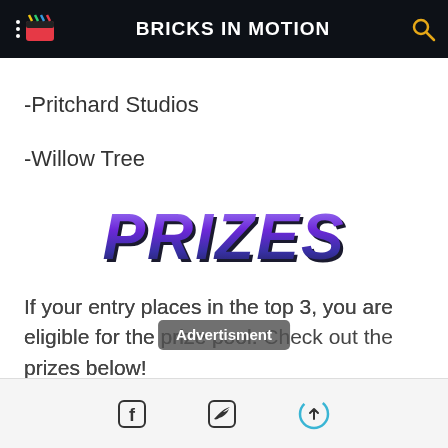BRICKS IN MOTION
-Pritchard Studios
-Willow Tree
[Figure (illustration): Stylized 3D italic bold text reading PRIZES in purple/blue gradient with dark shadow]
If your entry places in the top 3, you are eligible for the prize pool. Check out the prizes below!
Advertisment | Facebook | Twitter | Scroll to top